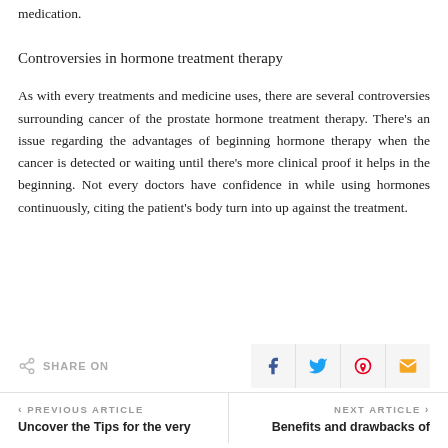medication.
Controversies in hormone treatment therapy
As with every treatments and medicine uses, there are several controversies surrounding cancer of the prostate hormone treatment therapy. There's an issue regarding the advantages of beginning hormone therapy when the cancer is detected or waiting until there's more clinical proof it helps in the beginning. Not every doctors have confidence in while using hormones continuously, citing the patient's body turn into up against the treatment.
SHARE ON
PREVIOUS ARTICLE
Uncover the Tips for the very
NEXT ARTICLE
Benefits and drawbacks of